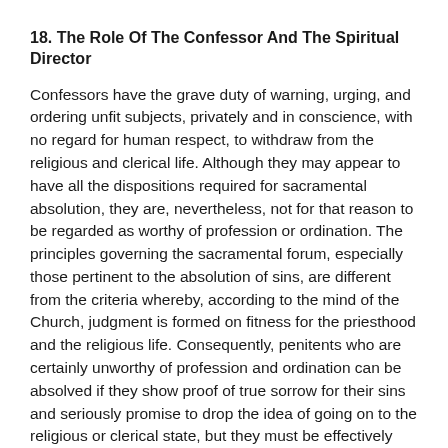18. The Role Of The Confessor And The Spiritual Director
Confessors have the grave duty of warning, urging, and ordering unfit subjects, privately and in conscience, with no regard for human respect, to withdraw from the religious and clerical life. Although they may appear to have all the dispositions required for sacramental absolution, they are, nevertheless, not for that reason to be regarded as worthy of profession or ordination. The principles governing the sacramental forum, especially those pertinent to the absolution of sins, are different from the criteria whereby, according to the mind of the Church, judgment is formed on fitness for the priesthood and the religious life. Consequently, penitents who are certainly unworthy of profession and ordination can be absolved if they show proof of true sorrow for their sins and seriously promise to drop the idea of going on to the religious or clerical state, but they must be effectively barred from profession and ordination.
Likewise spiritual directors are under obligation in the non-sacramental internal forum, to judge of the divine vocation of those entrusted to them and are also under the obligation to